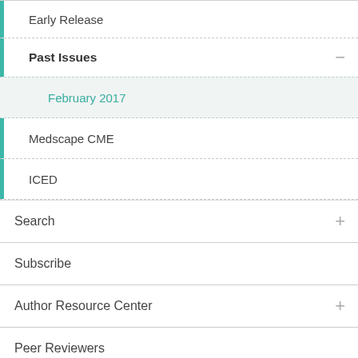Early Release
Past Issues
February 2017
Medscape CME
ICED
Search
Subscribe
Author Resource Center
Peer Reviewers